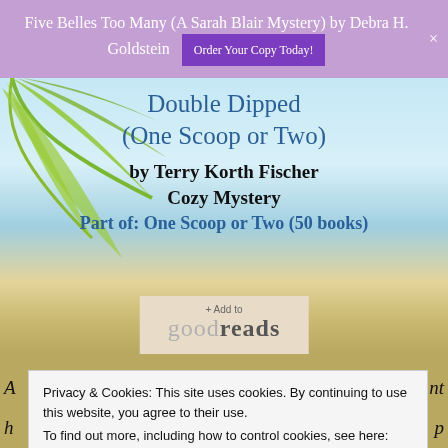Five Belles Too Many (A Sarah Blair Mystery) by Debra H. Goldstein
Order Your Copy Today!
Double Dipped (One Scoop or Two)
by Terry Korth Fischer
Cozy Mystery
Part of: One Scoop or Two (50 books)
[Figure (logo): + Add to goodreads button]
Privacy & Cookies: This site uses cookies. By continuing to use this website, you agree to their use.
To find out more, including how to control cookies, see here:
Cookie Policy
Close and accept
cottage on Moon Lake, the last place she felt